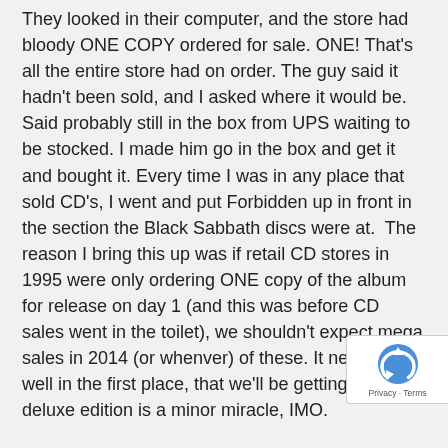They looked in their computer, and the store had bloody ONE COPY ordered for sale. ONE! That's all the entire store had on order. The guy said it hadn't been sold, and I asked where it would be. Said probably still in the box from UPS waiting to be stocked. I made him go in the box and get it and bought it. Every time I was in any place that sold CD's, I went and put Forbidden up in front in the section the Black Sabbath discs were at.  The reason I bring this up was if retail CD stores in 1995 were only ordering ONE copy of the album for release on day 1 (and this was before CD sales went in the toilet), we shouldn't expect mega sales in 2014 (or whenver) of these. It never sold well in the first place, that we'll be getting at all in a deluxe edition is a minor miracle, IMO.
Back to more current events..   The 13 album progressed and it came out .  Black Sabbath went back out on tour and when I asked again after the 13 tour got started, I was
[Figure (other): reCAPTCHA badge with Privacy and Terms links]